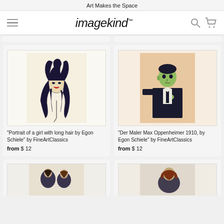Art Makes the Space
imagekind
[Figure (illustration): Portrait of a girl with long hair by Egon Schiele - expressionist painting of woman with dark curly hair]
“Portrait of a girl with long hair by Egon Schiele” by FineArtClassics
from $ 12
[Figure (illustration): Der Maler Max Oppenheimer 1910 by Egon Schiele - expressionist portrait of man in black suit with greenish face]
“Der Maler Max Oppenheimer 1910, by Egon Schiele” by FineArtClassics
from $ 12
[Figure (illustration): Partial view of another Egon Schiele painting - bottom of page cropped]
[Figure (illustration): Partial view of another Egon Schiele painting - bottom of page cropped]